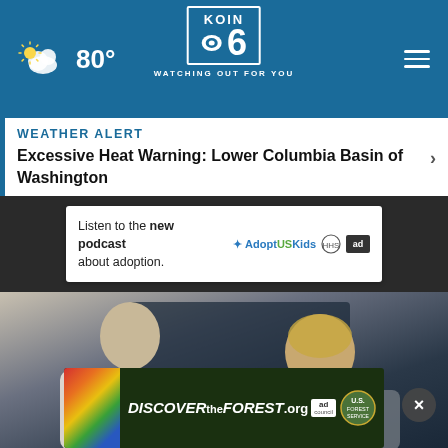KOIN 6 — WATCHING OUT FOR YOU — 80°
WEATHER ALERT
Excessive Heat Warning: Lower Columbia Basin of Washington
[Figure (screenshot): Advertisement banner: 'Listen to the new podcast about adoption.' with AdoptUSKids logo and ad council badge]
[Figure (photo): Two people in conversation, partially blurred background with dark paneling]
[Figure (screenshot): Advertisement banner: 'DISCOVERtheFOREST.org' with colorful flowers, Ad Council and US Forest Service logos]